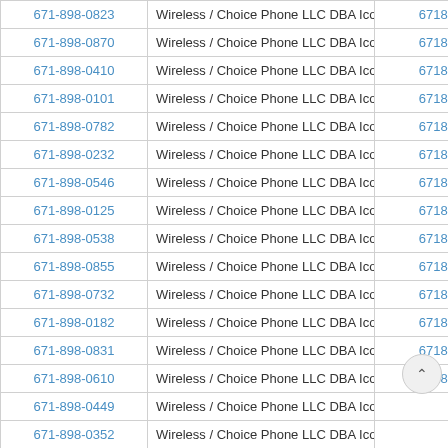| Phone Number | Carrier | 10-Digit |
| --- | --- | --- |
| 671-898-0823 | Wireless / Choice Phone LLC DBA Iconn | 6718980823 |
| 671-898-0870 | Wireless / Choice Phone LLC DBA Iconn | 6718980870 |
| 671-898-0410 | Wireless / Choice Phone LLC DBA Iconn | 6718980410 |
| 671-898-0101 | Wireless / Choice Phone LLC DBA Iconn | 6718980101 |
| 671-898-0782 | Wireless / Choice Phone LLC DBA Iconn | 6718980782 |
| 671-898-0232 | Wireless / Choice Phone LLC DBA Iconn | 6718980232 |
| 671-898-0546 | Wireless / Choice Phone LLC DBA Iconn | 6718980546 |
| 671-898-0125 | Wireless / Choice Phone LLC DBA Iconn | 6718980125 |
| 671-898-0538 | Wireless / Choice Phone LLC DBA Iconn | 6718980538 |
| 671-898-0855 | Wireless / Choice Phone LLC DBA Iconn | 6718980855 |
| 671-898-0732 | Wireless / Choice Phone LLC DBA Iconn | 6718980732 |
| 671-898-0182 | Wireless / Choice Phone LLC DBA Iconn | 6718980182 |
| 671-898-0831 | Wireless / Choice Phone LLC DBA Iconn | 6718980831 |
| 671-898-0610 | Wireless / Choice Phone LLC DBA Iconn | 6718980610 |
| 671-898-0449 | Wireless / Choice Phone LLC DBA Iconn | 671… |
| 671-898-0352 | Wireless / Choice Phone LLC DBA Iconn | 6718… |
| 671-898-0029 | Wireless / Choice Phone LLC DBA Iconn | 6718980029 |
| 671-898-0251 | Wireless / Choice Phone LLC DBA Iconn | 6718980251 |